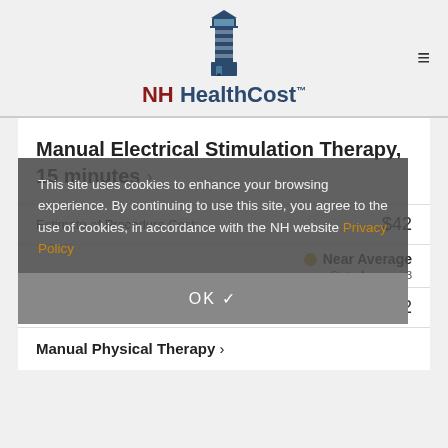[Figure (logo): NH HealthCost lighthouse logo with text]
Manual Electrical Stimulation Therapy, 15 minutes ›
Estimate of Procedure Cost: $42
● Near Average
State Average: 3
What You Will Pay: $42
Manual Physical Therapy ›
This site uses cookies to enhance your browsing experience. By continuing to use this site, you agree to the use of cookies, in accordance with the NH website Privacy Policy
OK ✓